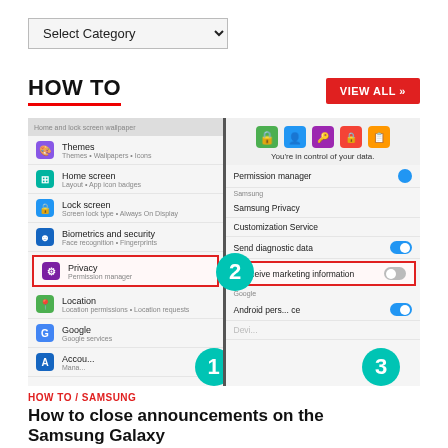[Figure (screenshot): Dropdown selector labeled 'Select Category' with arrow]
HOW TO
[Figure (screenshot): Two Samsung phone screenshots showing Privacy settings steps 1 and 2, with step circles numbered 1, 2, 3]
HOW TO / SAMSUNG
How to close announcements on the Samsung Galaxy